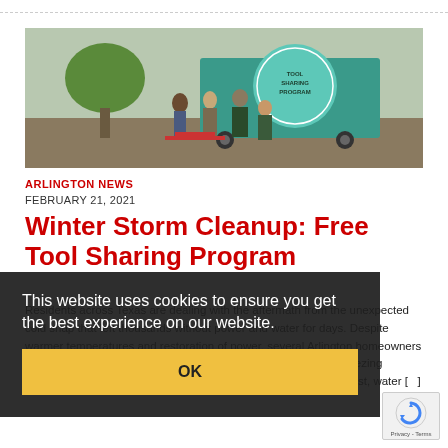[Figure (photo): Outdoor scene showing people gathered around a Tool Sharing Program trailer/vehicle with green branding. Workers and community members visible in a parking lot setting.]
ARLINGTON NEWS
FEBRUARY 21, 2021
Winter Storm Cleanup: Free Tool Sharing Program
Residents across Texas are dealing with the aftermath from the unexpected cold snap that left thousands without power and water for days. Despite warmer temperatures and restoration of power, several Arlington homeowners are still with property damage from this extreme winter storm. Subfreezing temperatures caused pipes to freeze and burst. When the pipes burst, water [...]
This website uses cookies to ensure you get the best experience on our website.
OK